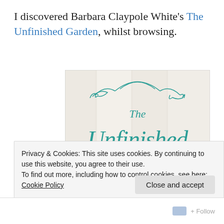I discovered Barbara Claypole White's The Unfinished Garden, whilst browsing.
[Figure (photo): Book cover of 'The Unfinished Garden' — a novel by Barbara Claypole White. White background with teal/turquoise ornate calligraphic script showing 'The Unfinished Garden' and 'A Novel' in smaller caps. Decorative flourishes and swirls frame the title.]
Privacy & Cookies: This site uses cookies. By continuing to use this website, you agree to their use.
To find out more, including how to control cookies, see here: Cookie Policy
Close and accept